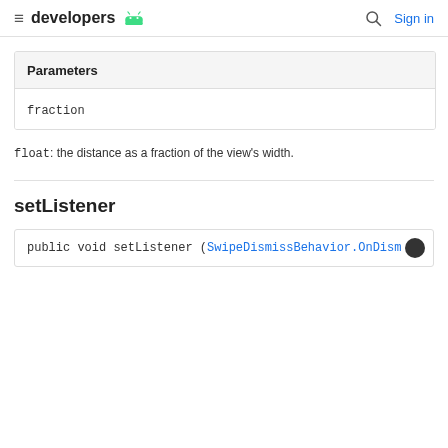developers [android logo] | Search | Sign in
| Parameters |
| --- |
| fraction |
float: the distance as a fraction of the view's width.
setListener
public void setListener (SwipeDismissBehavior.OnDism